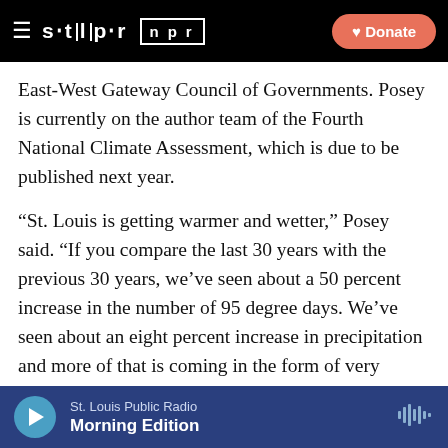STLPR NPR — Donate
East-West Gateway Council of Governments. Posey is currently on the author team of the Fourth National Climate Assessment, which is due to be published next year.
“St. Louis is getting warmer and wetter,” Posey said. “If you compare the last 30 years with the previous 30 years, we’ve seen about a 50 percent increase in the number of 95 degree days. We’ve seen about an eight percent increase in precipitation and more of that is coming in the form of very intense rainstorms, the kind associated with flash flooding on smaller streams and upstream on the Mississippi. Land use change has also
St. Louis Public Radio — Morning Edition